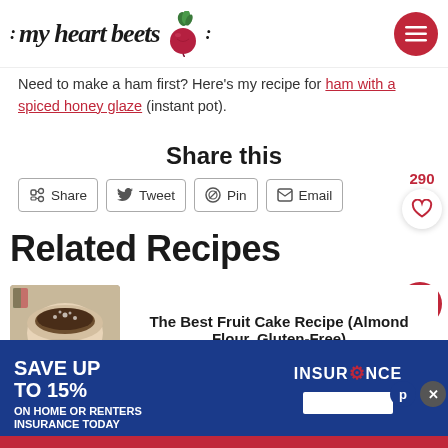my heart beets
Need to make a ham first? Here's my recipe for ham with a spiced honey glaze (instant pot).
Share this
Share | Tweet | Pin | Email
Related Recipes
[Figure (photo): Food photo: a round dish with chocolate cake or similar dessert dusted with powdered sugar, from above]
The Best Fruit Cake Recipe (Almond Flour, Gluten-Free)
[Figure (infographic): Advertisement banner: SAVE UP TO 15% ON HOME OR RENTERS INSURANCE TODAY | INSURANCE (AAA logo)]